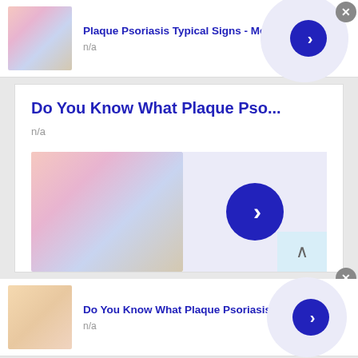Plaque Psoriasis Typical Signs - Most Wish
n/a
[Figure (photo): Skin with plaque psoriasis symptoms - blurry close-up of affected skin area]
Do You Know What Plaque Pso...
n/a
[Figure (photo): Skin with plaque psoriasis symptoms - blurry close-up of affected skin area, large version]
Do You Know What Plaque Psoriasis Is?
n/a
[Figure (photo): Hand with a dark mole or skin condition shown on finger/palm area]